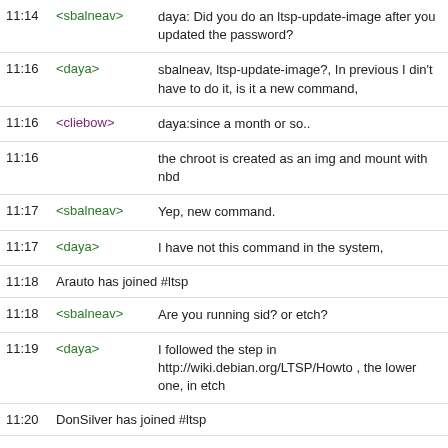11:14 <sbalneav> daya: Did you do an ltsp-update-image after you updated the password?
11:16 <daya> sbalneav, ltsp-update-image?, In previous I din't have to do it, is it a new command,
11:16 <cliebow> daya:since a month or so..
11:16  the chroot is created as an img and mount with nbd
11:17 <sbalneav> Yep, new command.
11:17 <daya> I have not this command in the system,
11:18 Arauto has joined #ltsp
11:18 <sbalneav> Are you running sid? or etch?
11:19 <daya> I followed the step in http://wiki.debian.org/LTSP/Howto , the lower one, in etch
11:20 DonSilver has joined #ltsp